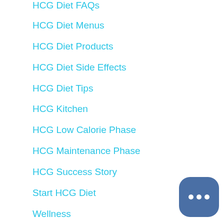HCG Diet FAQs
HCG Diet Menus
HCG Diet Products
HCG Diet Side Effects
HCG Diet Tips
HCG Kitchen
HCG Low Calorie Phase
HCG Maintenance Phase
HCG Success Story
Start HCG Diet
Wellness
Recent Posts
Four Reasons Why an Evening Workout is Good for You
Top 4 Asked Questions Before Starting the HCG